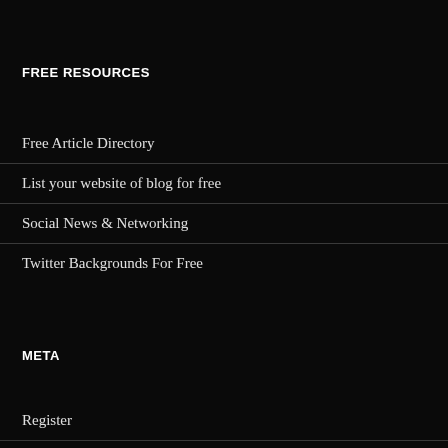FREE RESOURCES
Free Article Directory
List your website of blog for free
Social News & Networking
Twitter Backgrounds For Free
META
Register
Log in
Entries feed